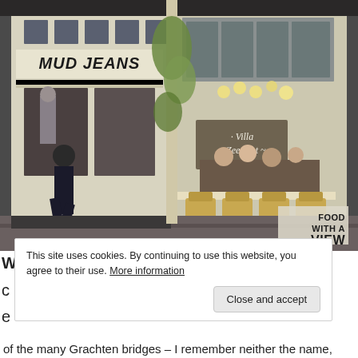[Figure (photo): Street-level photograph of Amsterdam storefronts: on the left, the 'MUD JEANS' store with a mannequin visible; on the right, 'Villa Zeezicht' cafe/restaurant with wicker chairs and tables on the sidewalk. A person in a dark coat and hat walks past on the left. A 'FOOD WITH A VIEW' badge appears in the lower right corner of the photo.]
This site uses cookies. By continuing to use this website, you agree to their use. More information
Close and accept
of the many Grachten bridges – I remember neither the name,